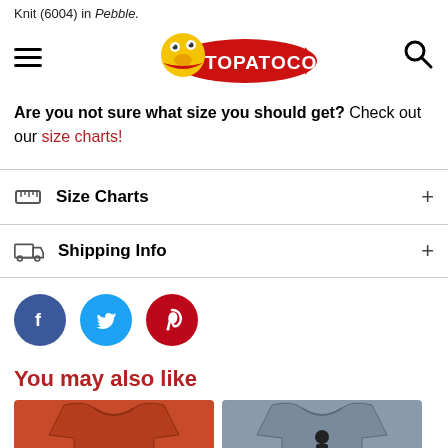Knit (6004) in Pebble.
[Figure (logo): TOPATOCO logo with cartoon duck/frog mascot on red banner]
Are you not sure what size you should get? Check out our size charts!
Size Charts +
Shipping Info +
[Figure (infographic): Social media share buttons: Facebook (blue), Twitter (light blue), Pinterest (red)]
You may also like
[Figure (photo): Red/rust colored t-shirt with green figures/characters on front]
[Figure (photo): Dark grey t-shirt with graphic design on front]